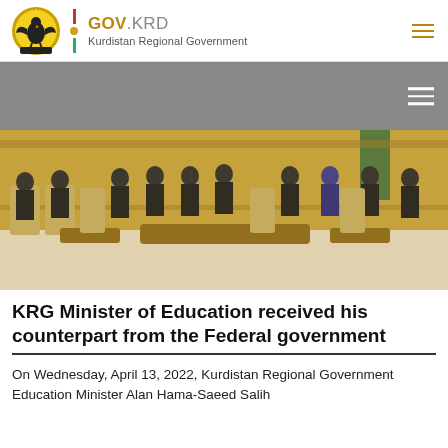GOV.KRD — Kurdistan Regional Government
[Figure (photo): Group of officials seated in a formal reception room with ornate golden chairs, meeting between KRG and Federal government delegations]
KRG Minister of Education received his counterpart from the Federal government
On Wednesday, April 13, 2022, Kurdistan Regional Government Education Minister Alan Hama-Saeed Salih